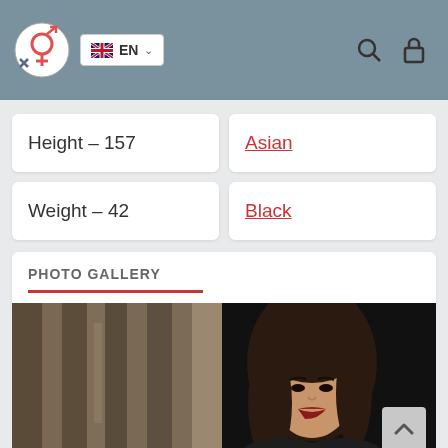EN language selector, search icon, lock icon
Height – 157
Asian
Weight – 42
Black
PHOTO GALLERY
[Figure (photo): Photo gallery showing a young Asian woman with long dark hair and red lipstick, wearing dark clothing, with a curtain/drape background on the left side and dark background on the right side.]